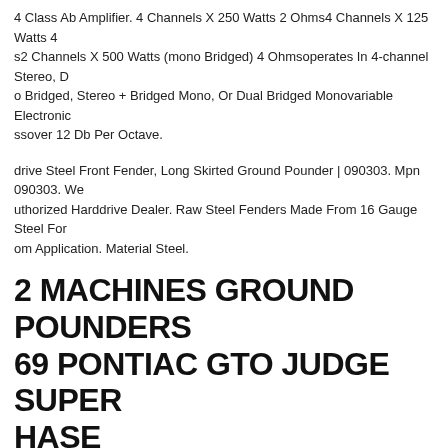4 Class Ab Amplifier. 4 Channels X 250 Watts 2 Ohms4 Channels X 125 Watts 4s2 Channels X 500 Watts (mono Bridged) 4 Ohmsoperates In 4-channel Stereo, Do Bridged, Stereo + Bridged Mono, Or Dual Bridged Monovariable Electronic ssover 12 Db Per Octave.
drive Steel Front Fender, Long Skirted Ground Pounder | 090303. Mpn 090303. We uthorized Harddrive Dealer. Raw Steel Fenders Made From 16 Gauge Steel For om Application. Material Steel.
2 MACHINES GROUND POUNDERS 69 PONTIAC GTO JUDGE SUPER HASE
Machines Ground Pounders 1969 Pontiac Gto Judge Super Chase. Free Shipping. se Look At Pictures Before Placing Order. Thank You
Machine Ground Pounders Set Of 5 + Hurst Hustler . M2 Machine Ground Pounde f 5 + Hurst Hustler Shipped Within The Box!
round Pounders 1970 Challenger 1/18 Sr.